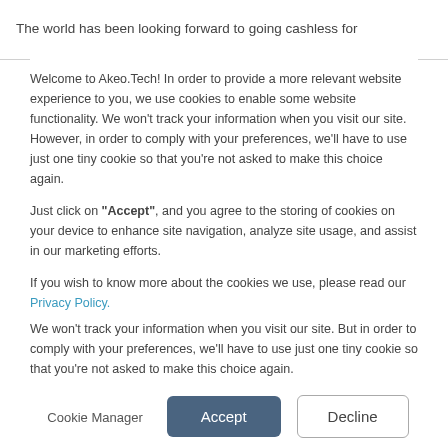The world has been looking forward to going cashless for
Welcome to Akeo.Tech! In order to provide a more relevant website experience to you, we use cookies to enable some website functionality. We won't track your information when you visit our site. However, in order to comply with your preferences, we'll have to use just one tiny cookie so that you're not asked to make this choice again.
Just click on “Accept”, and you agree to the storing of cookies on your device to enhance site navigation, analyze site usage, and assist in our marketing efforts.
If you wish to know more about the cookies we use, please read our Privacy Policy.
We won’t track your information when you visit our site. But in order to comply with your preferences, we’ll have to use just one tiny cookie so that you’re not asked to make this choice again.
Cookie Manager | Accept | Decline